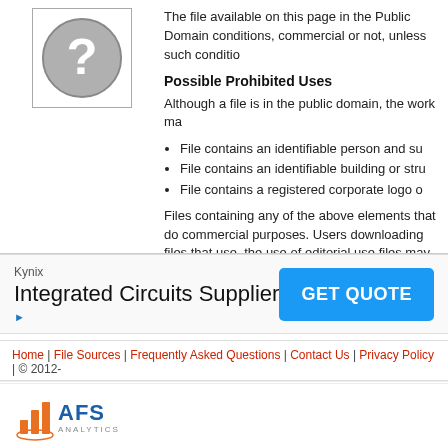[Figure (illustration): Gray circle with question mark icon inside a bordered box]
The file available on this page in the Public Domain conditions, commercial or not, unless such conditio
Possible Prohibited Uses
Although a file is in the public domain, the work ma
File contains an identifiable person and su
File contains an identifiable building or stru
File contains a registered corporate logo o
Files containing any of the above elements that do commercial purposes. Users downloading files tha use, the use of editorial use files may require additi consult with your legal counsel to be sure your use
Download Agreement
By downloading this file, you indicate that you unde publicdomainfiles.com harmless should any liability
Kynix
Integrated Circuits Supplier
GET QUOTE
Home | File Sources | Frequently Asked Questions | Contact Us | Privacy Policy | © 2012-
[Figure (logo): AFS Analytics logo with orange bar chart icon and AFS ANALYTICS text]